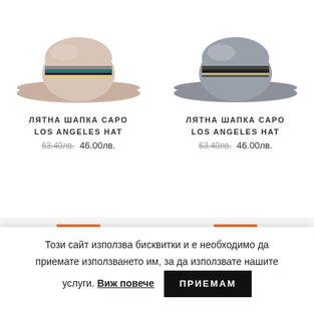[Figure (photo): Two summer fedora hats (beige/pink and grey) with striped bands, shown from above, product listing images]
ЛЯТНА ШАПКА САРO LOS ANGELES HAT
63.40лв.  46.00лв.
ЛЯТНА ШАПКА САРO LOS ANGELES HAT
63.40лв.  46.00лв.
[Figure (photo): Two flat cap / newsboy style hats in dark grey/charcoal, product listing images with orange Sale badges]
Този сайт използва бисквитки и е необходимо да приемате използването им, за да използвате нашите услуги. Виж повече  ПРИЕМАМ